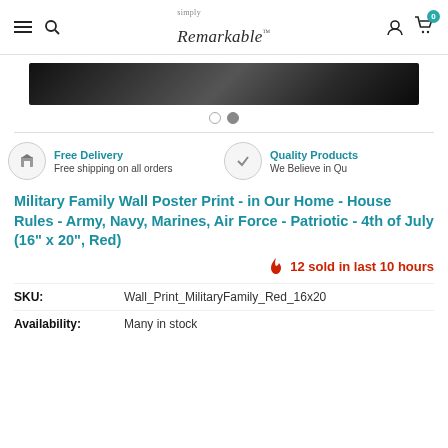Simply Remarkable — navigation header with hamburger menu, search, logo, account, and cart (0)
[Figure (photo): Dark textured product image banner (partially cropped), with two navigation dots below]
Free Delivery — Free shipping on all orders | Quality Products — We Believe in Qu...
Military Family Wall Poster Print - in Our Home - House Rules - Army, Navy, Marines, Air Force - Patriotic - 4th of July (16" x 20", Red)
12 sold in last 10 hours
| Field | Value |
| --- | --- |
| SKU: | Wall_Print_MilitaryFamily_Red_16x20 |
| Availability: | Many in stock |